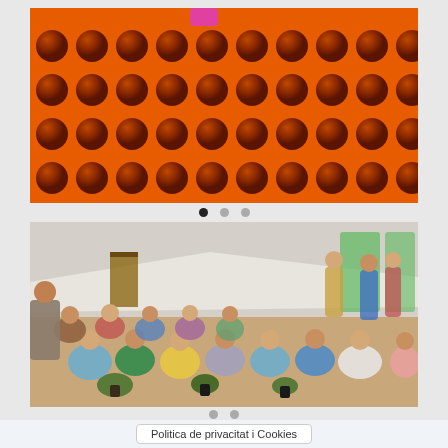[Figure (photo): Close-up photo of an orange perforated plastic surface with round holes arranged in a grid pattern, pink element visible at top center]
[Figure (photo): Group of school children sitting on the floor in a large hall listening to a presenter; adults standing in background near banners and displays; potted plants in foreground]
Politica de privacitat i Cookies